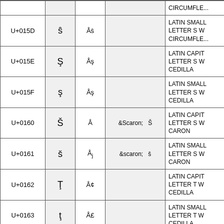| Code Point | Character | UTF-8 | HTML Entity | Name |
| --- | --- | --- | --- | --- |
| U+015D | ŝ | Åŝ |  | LATIN SMALL LETTER S WITH CIRCUMFLEX |
| U+015E | Ş | Åş |  | LATIN CAPITAL LETTER S WITH CEDILLA |
| U+015F | ş | Åş |  | LATIN SMALL LETTER S WITH CEDILLA |
| U+0160 | Š | Å | &Scaron;  Š | LATIN CAPITAL LETTER S WITH CARON |
| U+0161 | š | Åj | &scaron;  š | LATIN SMALL LETTER S WITH CARON |
| U+0162 | Ţ | Å¢ |  | LATIN CAPITAL LETTER T WITH CEDILLA |
| U+0163 | ţ | Å£ |  | LATIN SMALL LETTER T WITH CEDILLA |
| U+0164 | Ť | Å¤ |  | LATIN CAPITAL LETTER T W |